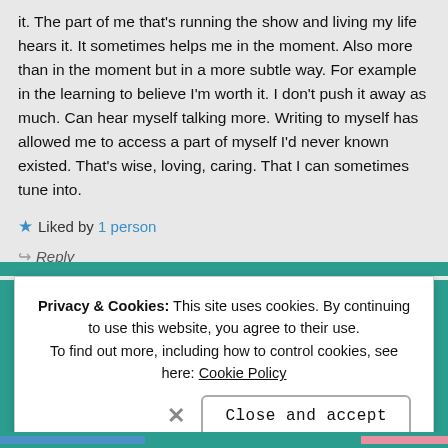it. The part of me that's running the show and living my life hears it. It sometimes helps me in the moment. Also more than in the moment but in a more subtle way. For example in the learning to believe I'm worth it. I don't push it away as much. Can hear myself talking more. Writing to myself has allowed me to access a part of myself I'd never known existed. That's wise, loving, caring. That I can sometimes tune into.
★ Liked by 1 person
⇝ Reply
Privacy & Cookies: This site uses cookies. By continuing to use this website, you agree to their use. To find out more, including how to control cookies, see here: Cookie Policy
Close and accept